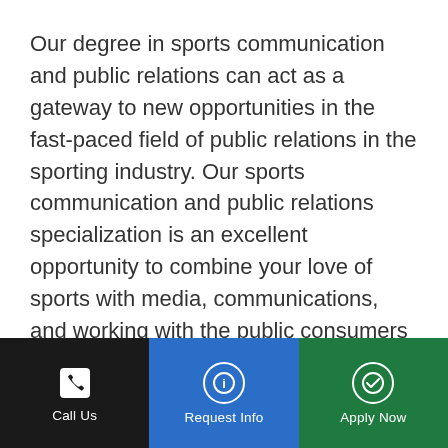Our degree in sports communication and public relations can act as a gateway to new opportunities in the fast-paced field of public relations in the sporting industry. Our sports communication and public relations specialization is an excellent opportunity to combine your love of sports with media, communications, and working with the public consumers of sports.
[Figure (screenshot): Partial view of a card or widget with a blue rounded top element visible, on a light grey background with border]
Call Us | Request Info | Apply Now